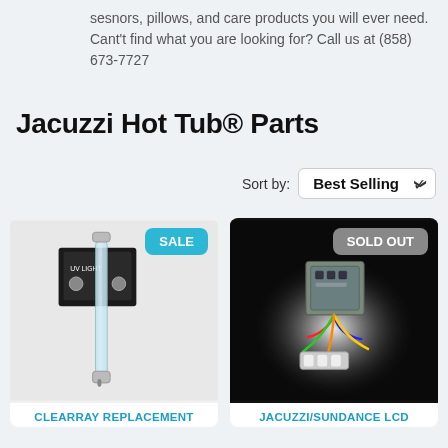sesnors, pillows, and care products you will ever need. Cant't find what you are looking for? Call us at (858) 673-7727
Jacuzzi Hot Tub® Parts
Sort by: Best Selling
[Figure (photo): UV lamp / CLEARRAY replacement bulb with product box, marked SALE]
CLEARRAY REPLACEMENT
[Figure (photo): Jacuzzi/Sundance LCD circuit board with colored wires, marked SOLD OUT]
JACUZZI/SUNDANCE LCD